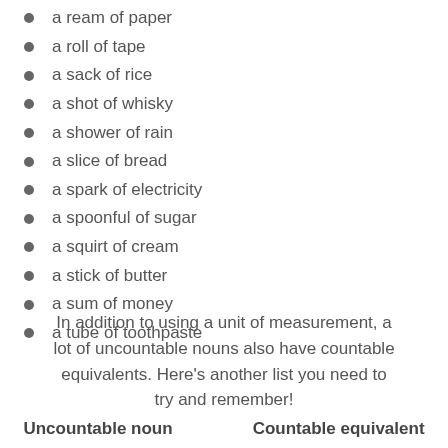a ream of paper
a roll of tape
a sack of rice
a shot of whisky
a shower of rain
a slice of bread
a spark of electricity
a spoonful of sugar
a squirt of cream
a stick of butter
a sum of money
a tube of toothpaste
In addition to using a unit of measurement, a lot of uncountable nouns also have countable equivalents. Here’s another list you need to try and remember!
| Uncountable noun | Countable equivalent |
| --- | --- |